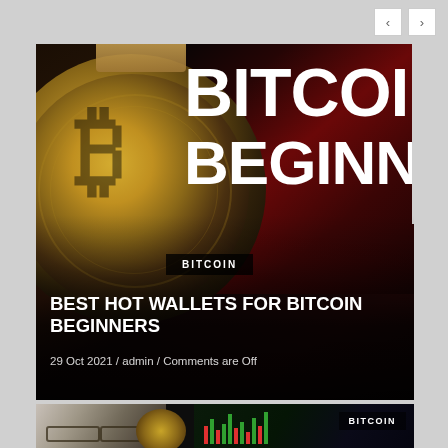[Figure (screenshot): Navigation arrows (previous/next) in top right corner]
[Figure (photo): Hero image of a Bitcoin coin held by fingers with large bold white text overlay reading BITCOIN FO... BEGINNE... on dark red/black background. Headline article card with tag BITCOIN, title BEST HOT WALLETS FOR BITCOIN BEGINNERS, date 29 Oct 2021 / admin / Comments are Off]
BITCOIN
BEST HOT WALLETS FOR BITCOIN BEGINNERS
29 Oct 2021 / admin / Comments are Off
[Figure (photo): Partial second article card showing a person with glasses, a Bitcoin coin, and a stock chart background. BITCOIN tag visible on the right.]